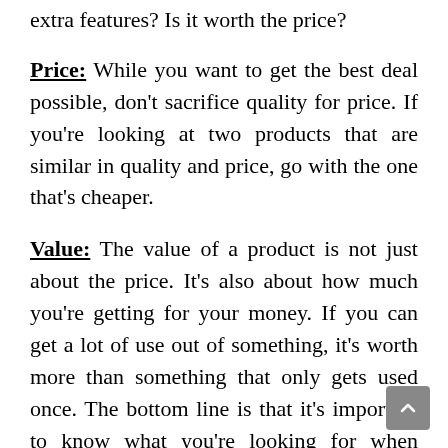extra features? Is it worth the price?
Price: While you want to get the best deal possible, don't sacrifice quality for price. If you're looking at two products that are similar in quality and price, go with the one that's cheaper.
Value: The value of a product is not just about the price. It's also about how much you're getting for your money. If you can get a lot of use out of something, it's worth more than something that only gets used once. The bottom line is that it's important to know what you're looking for when shopping for the best Heated Socks For Diabetics. If you know what features are important to you, then it will be easier to find a product that will work for you.